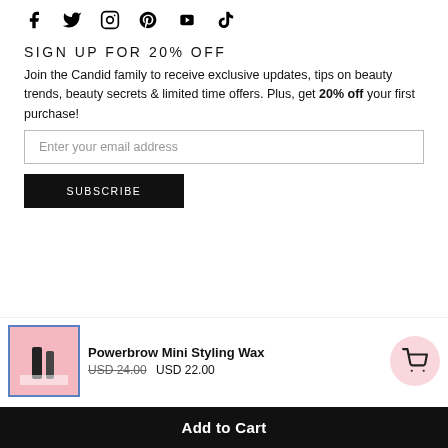[Figure (other): Social media icons: Facebook, Twitter, Instagram, Pinterest, YouTube, TikTok]
SIGN UP FOR 20% OFF
Join the Candid family to receive exclusive updates, tips on beauty trends, beauty secrets & limited time offers. Plus, get 20% off your first purchase!
Enter your email address
SUBSCRIBE
[Figure (photo): Product image of Powerbrow Mini Styling Wax in a pink box with product bottles]
Powerbrow Mini Styling Wax
USD 24.00   USD 22.00
Add to Cart